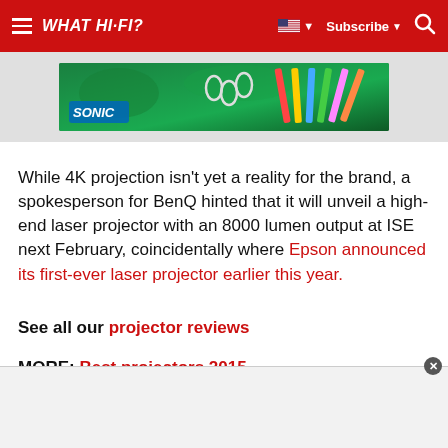WHAT HI-FI?  Subscribe
[Figure (photo): Partial image of a Sonic-branded display with colorful pencils and school supplies on a green background]
While 4K projection isn't yet a reality for the brand, a spokesperson for BenQ hinted that it will unveil a high-end laser projector with an 8000 lumen output at ISE next February, coincidentally where Epson announced its first-ever laser projector earlier this year.
See all our projector reviews
MORE: Best projectors 2015